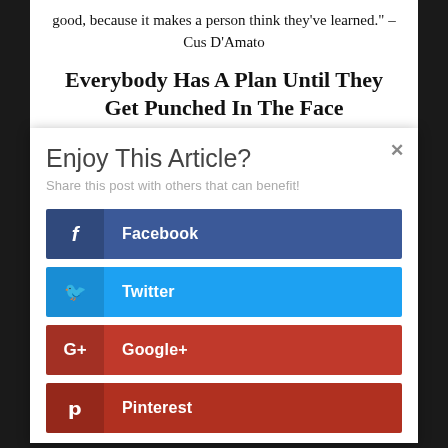good, because it makes a person think they've learned." – Cus D'Amato
Everybody Has A Plan Until They Get Punched In The Face
Enjoy This Article?
Share this post with others that can benefit!
Facebook
Twitter
Google+
Pinterest